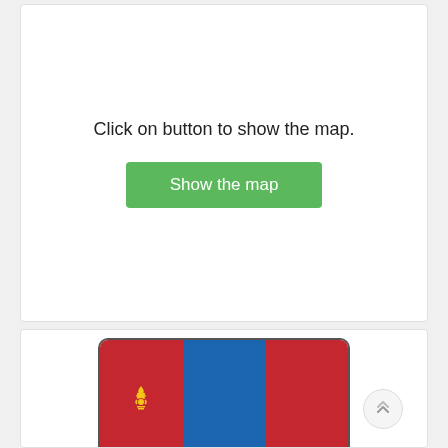Click on button to show the map.
[Figure (illustration): Green button labeled 'Show the map']
[Figure (illustration): Mongolian flag displayed partially — three vertical stripes: red, blue, red with Soyombo symbol on left red stripe]